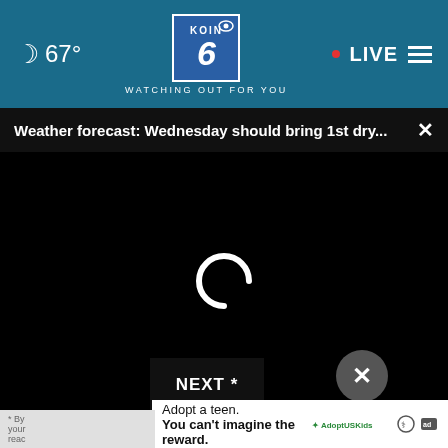67° KOIN 6 CBS WATCHING OUT FOR YOU • LIVE
Weather forecast: Wednesday should bring 1st dry... ×
[Figure (screenshot): Black video player area with a loading spinner (circular arc) in the center]
NEXT *
× (close button)
Adopt a teen. You can't imagine the reward.
* By  your  reac